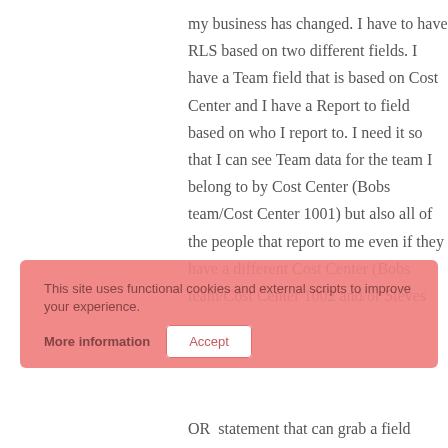my business has changed. I have to have RLS based on two different fields. I have a Team field that is based on Cost Center and I have a Report to field based on who I report to. I need it so that I can see Team data for the team I belong to by Cost Center (Bobs team/Cost Center 1001) but also all of the people that report to me even if they have a different Cost Center (Bobs team/Cost Center 1002 and/or Steves
This site uses functional cookies and external scripts to improve your experience.
More information
Accept
OR statement that can grab a field